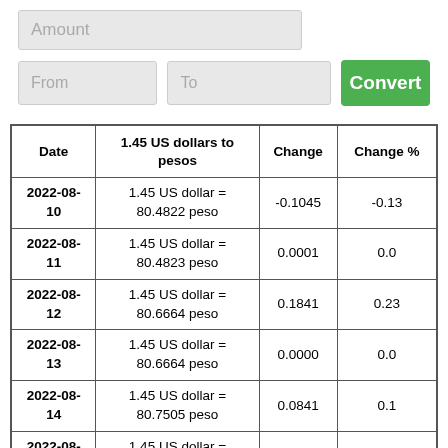[Figure (screenshot): Currency converter UI with Amount input field, From and To dropdowns, and Convert button]
| Date | 1.45 US dollars to pesos | Change | Change % |
| --- | --- | --- | --- |
| 2022-08-10 | 1.45 US dollar = 80.4822 peso | -0.1045 | -0.13 |
| 2022-08-11 | 1.45 US dollar = 80.4823 peso | 0.0001 | 0.0 |
| 2022-08-12 | 1.45 US dollar = 80.6664 peso | 0.1841 | 0.23 |
| 2022-08-13 | 1.45 US dollar = 80.6664 peso | 0.0000 | 0.0 |
| 2022-08-14 | 1.45 US dollar = 80.7505 peso | 0.0841 | 0.1 |
| 2022-08-15 | 1.45 US dollar = 81.0695 peso | 0.3190 | 0.4 |
| 2022-08-16 | 1.45 US dollar = 81.0550 peso | -0.0145 | -0.02 |
| 2022-08-17 | 1.45 US dollar = 81.0840 peso | 0.0290 | 0.04 |